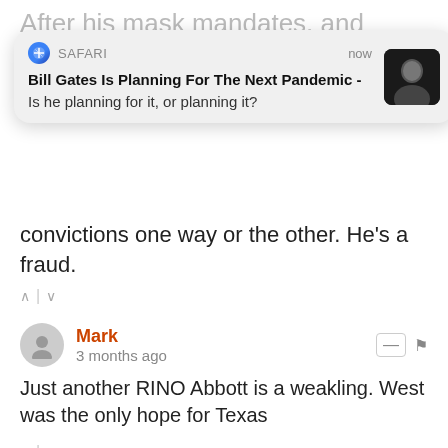After his mask mandates, and
[Figure (screenshot): Safari browser push notification overlay showing: 'Bill Gates Is Planning For The Next Pandemic - Is he planning for it, or planning it?' with a thumbnail photo of Bill Gates and timestamp 'now']
convictions one way or the other. He's a fraud.
Mark • 3 months ago
Just another RINO Abbott is a weakling. West was the only hope for Texas
Rob Ren... • 3 months ago